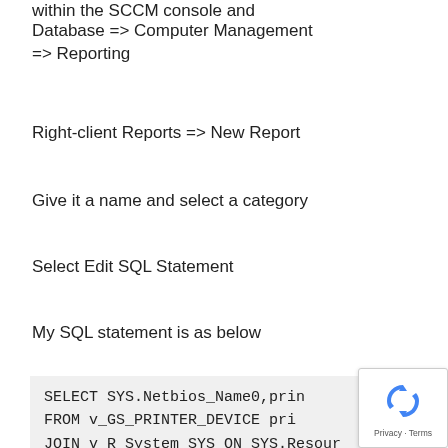within the SCCM console and Database => Computer Management => Reporting
Right-client Reports => New Report
Give it a name and select a category
Select Edit SQL Statement
My SQL statement is as below
SELECT SYS.Netbios_Name0,prin
FROM v_GS_PRINTER_DEVICE pri
JOIN v_R_System SYS ON SYS.Resour